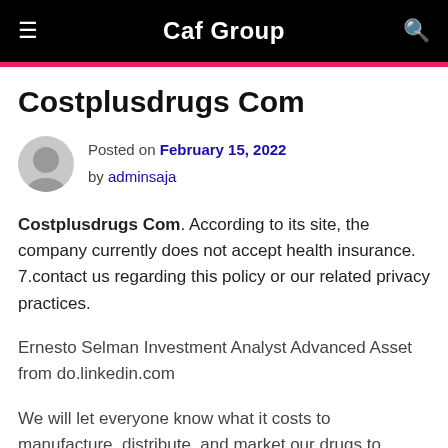Caf Group
Costplusdrugs Com
Posted on February 15, 2022 by adminsaja
Costplusdrugs Com. According to its site, the company currently does not accept health insurance. 7.contact us regarding this policy or our related privacy practices.
Ernesto Selman Investment Analyst Advanced Asset from do.linkedin.com
We will let everyone know what it costs to manufacture, distribute, and market our drugs to pharmacies. We're